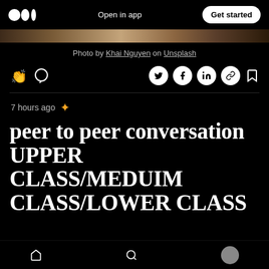[Figure (screenshot): Medium app top navigation bar with logo, Open in app text, and Get started button]
[Figure (photo): Partial image strip showing a nature/wood texture photo]
Photo by Khai Nguyen on Unsplash
[Figure (screenshot): Action bar with clap, comment icons on left, and Twitter, Facebook, LinkedIn, link, bookmark icons on right]
7 hours ago
peer to peer conversation UPPER CLASS/MEDUIM CLASS/LOWER CLASS
[Figure (screenshot): Bottom navigation bar with home, search, and profile avatar icons]